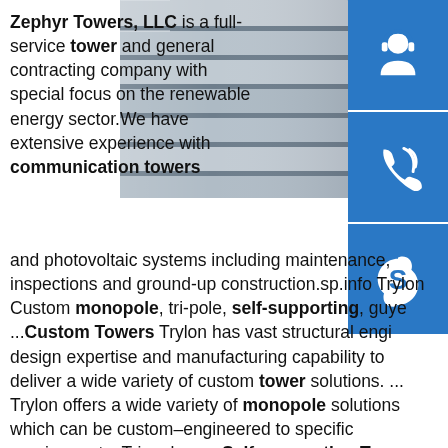Zephyr Towers, LLC is a full-service tower and general contracting company with special focus on the renewable energy sector.We have extensive experience with communication towers and photovoltaic systems including maintenance, inspections and ground-up construction.sp.info Trylon Custom monopole, tri-pole, self-supporting, guye ...Custom Towers Trylon has vast structural engi design expertise and manufacturing capability to deliver a wide variety of custom tower solutions. ... Trylon offers a wide variety of monopole solutions which can be custom–engineered to specific requirements. Tri–poles. ... Self–supporting Towers. The tapered shape of the Self ...sp.infoSelf Supporting Antenna Towers: FreeStanding Antenna Towersp.info COMMUNICATION STRUCTURES ...communication towers to utility poles, we provide a
[Figure (photo): Stacked steel C-channel beams or structural steel sections viewed from the end, showing metallic grey color]